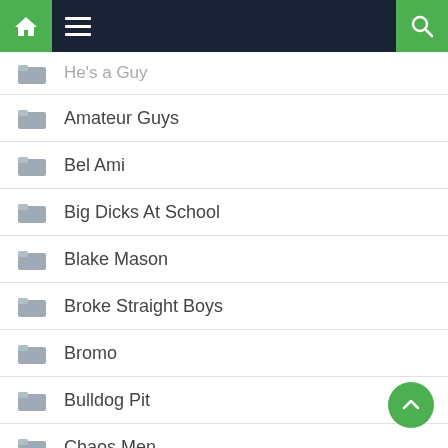Navigation bar with home, menu, and search icons
He's a Guy
Amateur Guys
Bel Ami
Big Dicks At School
Blake Mason
Broke Straight Boys
Bromo
Bulldog Pit
Chaos Men
Cocky Boys